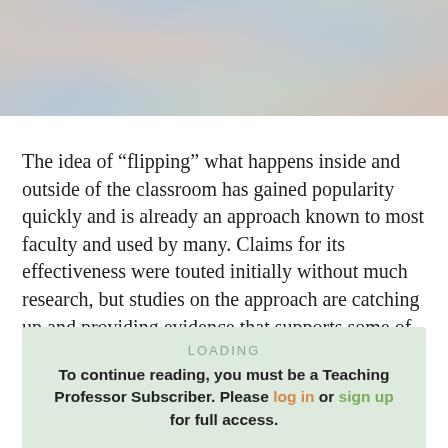[Figure (photo): Photo of students or faculty in a classroom or laboratory setting, blurred/out of focus background with people and equipment visible]
The idea of “flipping” what happens inside and outside of the classroom has gained popularity quickly and is already an approach known to most faculty and used by many. Claims for its effectiveness were touted initially without much research, but studies on the approach are catching up and providing evidence that supports some of the claims.
LOADING
To continue reading, you must be a Teaching Professor Subscriber. Please log in or sign up for full access.